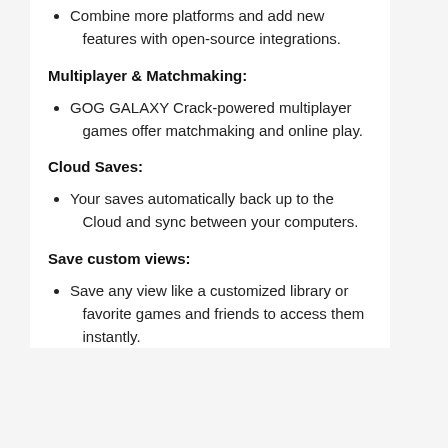Combine more platforms and add new features with open-source integrations.
Multiplayer & Matchmaking:
GOG GALAXY Crack-powered multiplayer games offer matchmaking and online play.
Cloud Saves:
Your saves automatically back up to the Cloud and sync between your computers.
Save custom views:
Save any view like a customized library or favorite games and friends to access them instantly.